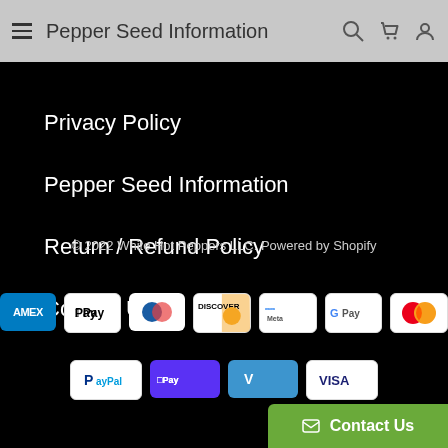Pepper Seed Information
Privacy Policy
Pepper Seed Information
Return / Refund Policy
Contact Us
© 2022 White Hot Peppers LLC. Powered by Shopify
[Figure (logo): Payment method icons: AMEX, Apple Pay, Diners Club, Discover, Meta Pay, Google Pay, Mastercard, PayPal, Shop Pay, Venmo, Visa]
Contact Us